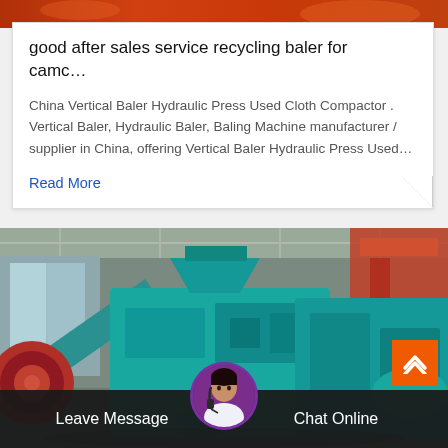[Figure (photo): Top partial image strip showing orange/red background, a product photo cropped at top]
good after sales service recycling baler for camc…
China Vertical Baler Hydraulic Press Used Cloth Compactor . Vertical Baler, Hydraulic Baler, Baling Machine manufacturer / supplier in China, offering Vertical Baler Hydraulic Press Used…
Read More
[Figure (photo): Industrial machinery photo showing large teal/turquoise colored briquetting press machine in a factory warehouse setting]
Leave Message   Chat Online